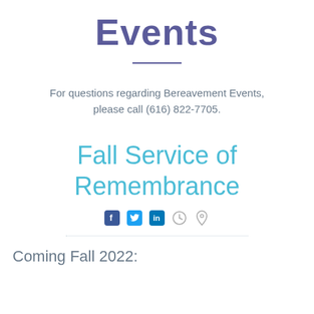Events
For questions regarding Bereavement Events, please call (616) 822-7705.
Fall Service of Remembrance
[Figure (infographic): Social media icons (Facebook, Twitter, LinkedIn), a clock icon, and a map pin icon arranged in a row]
Coming Fall 2022: